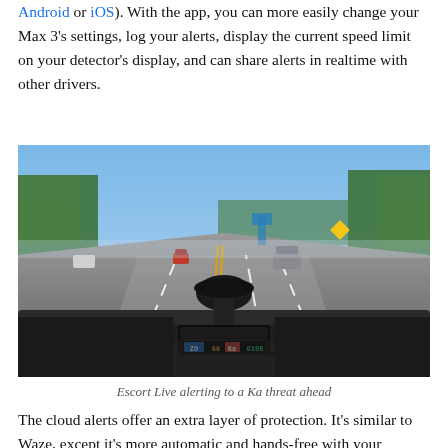Android or iOS). With the app, you can more easily change your Max 3's settings, log your alerts, display the current speed limit on your detector's display, and can share alerts in realtime with other drivers.
[Figure (photo): Dashboard-mounted Escort radar detector displaying 'ZO 66 Ka 6198' alert on a multi-lane highway with cars visible ahead and trees lining the road.]
Escort Live alerting to a Ka threat ahead
The cloud alerts offer an extra layer of protection. It's similar to Waze, except it's more automatic and hands-free with your detector reporting your alerts to the cloud